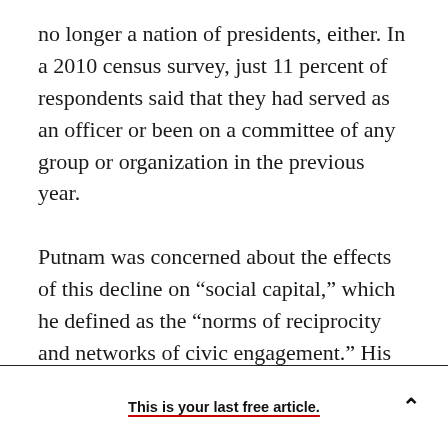no longer a nation of presidents, either. In a 2010 census survey, just 11 percent of respondents said that they had served as an officer or been on a committee of any group or organization in the previous year.

Putnam was concerned about the effects of this decline on “social capital,” which he defined as the “norms of reciprocity and networks of civic engagement.” His financial metaphor values civic life primarily for the assets it provides individuals. This perspective lends itself to a certain optimism. Not every measure of social capital is in decline:
This is your last free article.